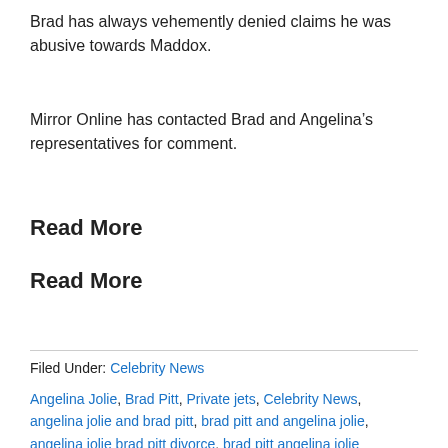Brad has always vehemently denied claims he was abusive towards Maddox.
Mirror Online has contacted Brad and Angelina’s representatives for comment.
Read More
Read More
Filed Under: Celebrity News Angelina Jolie, Brad Pitt, Private jets, Celebrity News, angelina jolie and brad pitt, brad pitt and angelina jolie, angelina jolie brad pitt divorce, brad pitt angelina jolie